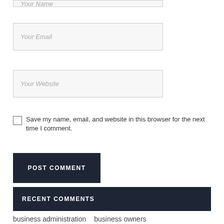[Figure (screenshot): Partial form input field at top showing 'Your Name' placeholder, cut off at the top edge of the page]
[Figure (screenshot): Form input field with placeholder text 'Your Email']
[Figure (screenshot): Form input field with placeholder text 'Your Website']
Save my name, email, and website in this browser for the next time I comment.
[Figure (screenshot): Button labeled POST COMMENT with dark navy background]
RECENT COMMENTS
business administration  business owners